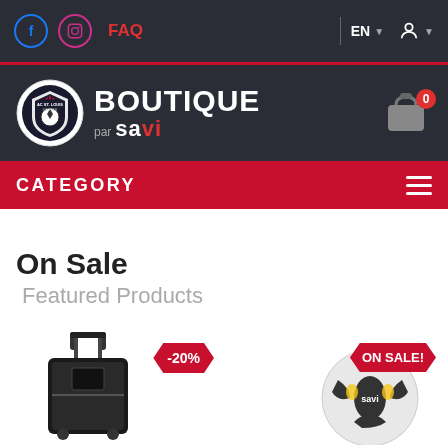Facebook | Instagram | FAQ | EN | user account
[Figure (logo): AC St. Louis Soccer Club boutique par Savi logo with shopping cart showing 0 items]
CATEGORY
On Sale
Featured Products
[Figure (photo): Black roller suitcase/luggage with -20% sale badge]
[Figure (photo): Savi soccer ball with ON SALE! badge]